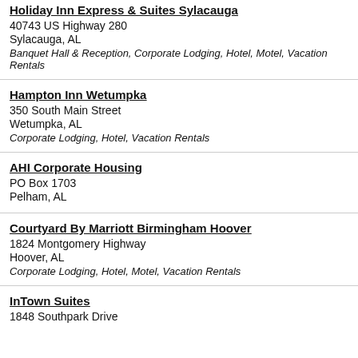Holiday Inn Express & Suites Sylacauga
40743 US Highway 280
Sylacauga, AL
Banquet Hall & Reception, Corporate Lodging, Hotel, Motel, Vacation Rentals
Hampton Inn Wetumpka
350 South Main Street
Wetumpka, AL
Corporate Lodging, Hotel, Vacation Rentals
AHI Corporate Housing
PO Box 1703
Pelham, AL
Courtyard By Marriott Birmingham Hoover
1824 Montgomery Highway
Hoover, AL
Corporate Lodging, Hotel, Motel, Vacation Rentals
InTown Suites
1848 Southpark Drive